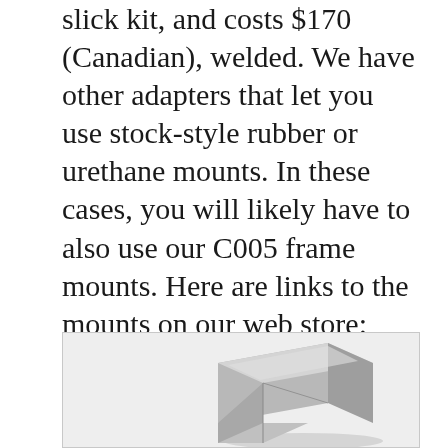slick kit, and costs $170 (Canadian), welded. We have other adapters that let you use stock-style rubber or urethane mounts. In these cases, you will likely have to also use our C005 frame mounts. Here are links to the mounts on our web store:
[Figure (photo): A metal bracket or mount component photographed against a light background, showing a machined or welded metal part with angular geometry.]